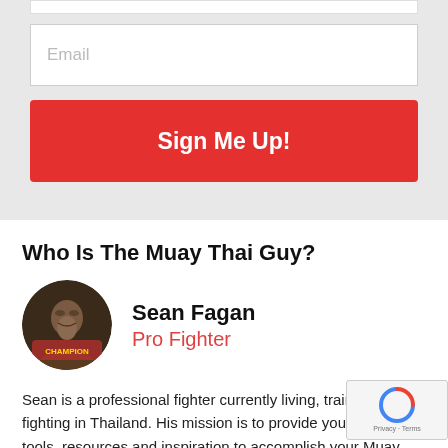[Figure (other): Email input field (form element)]
Email
[Figure (other): Sign Me Up! red button]
Who Is The Muay Thai Guy?
[Figure (photo): Circular avatar photo of Sean Fagan, a man with a beard wearing a championship belt]
Sean Fagan
Pro Fighter
Sean is a professional fighter currently living, training and fighting in Thailand. His mission is to provide you with the tools, resources and inspiration to accomplish your Muay